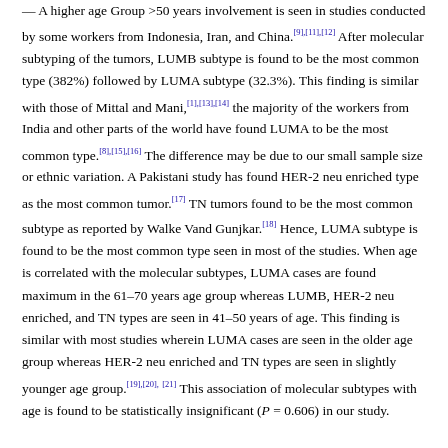A higher age Group >50 years involvement is seen in studies conducted by some workers from Indonesia, Iran, and China.[9],[11],[12] After molecular subtyping of the tumors, LUMB subtype is found to be the most common type (382%) followed by LUMA subtype (32.3%). This finding is similar with those of Mittal and Mani,[1],[13],[14] the majority of the workers from India and other parts of the world have found LUMA to be the most common type.[8],[15],[16] The difference may be due to our small sample size or ethnic variation. A Pakistani study has found HER-2 neu enriched type as the most common tumor.[17] TN tumors found to be the most common subtype as reported by Walke Vand Gunjkar.[18] Hence, LUMA subtype is found to be the most common type seen in most of the studies. When age is correlated with the molecular subtypes, LUMA cases are found maximum in the 61–70 years age group whereas LUMB, HER-2 neu enriched, and TN types are seen in 41–50 years of age. This finding is similar with most studies wherein LUMA cases are seen in the older age group whereas HER-2 neu enriched and TN types are seen in slightly younger age group.[19],[20],[21] This association of molecular subtypes with age is found to be statistically insignificant (P = 0.606) in our study.